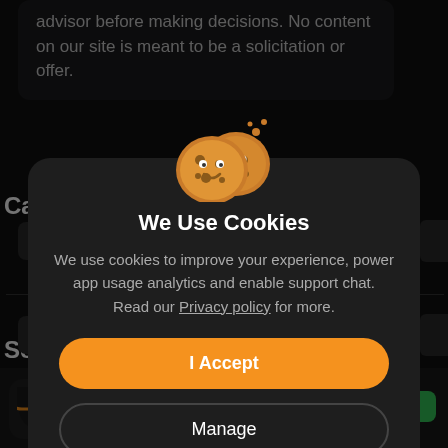advisor before making decisions. No content on our site is meant to be a solicitation or offer.
[Figure (screenshot): Background app screenshot with dark theme showing partial financial app UI with category labels and side items]
We Use Cookies
We use cookies to improve your experience, power app usage analytics and enable support chat. Read our Privacy policy for more.
I Accept
Manage